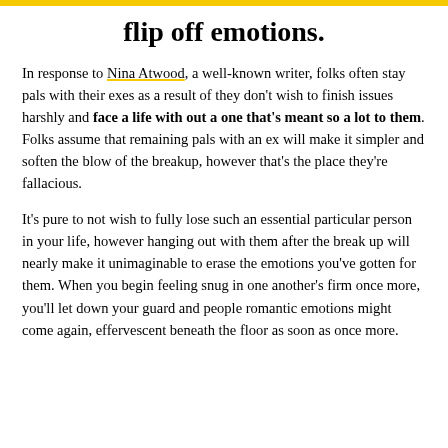flip off emotions.
In response to Nina Atwood, a well-known writer, folks often stay pals with their exes as a result of they don't wish to finish issues harshly and face a life with out a one that's meant so a lot to them. Folks assume that remaining pals with an ex will make it simpler and soften the blow of the breakup, however that's the place they're fallacious.
It's pure to not wish to fully lose such an essential particular person in your life, however hanging out with them after the break up will nearly make it unimaginable to erase the emotions you've gotten for them. When you begin feeling snug in one another's firm once more, you'll let down your guard and people romantic emotions might come again, effervescent beneath the floor as soon as once more.